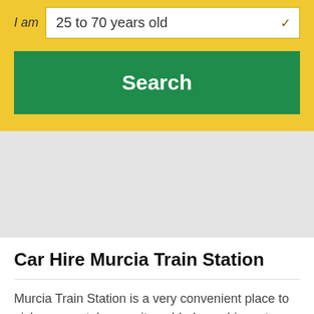I am  25 to 70 years old
Search
[Figure (other): Gray placeholder/ad banner area]
Car Hire Murcia Train Station
Murcia Train Station is a very convenient place to pick up a rental car as it enabled you driver at your leisure to all the nearby attractions for this city or nearby cities